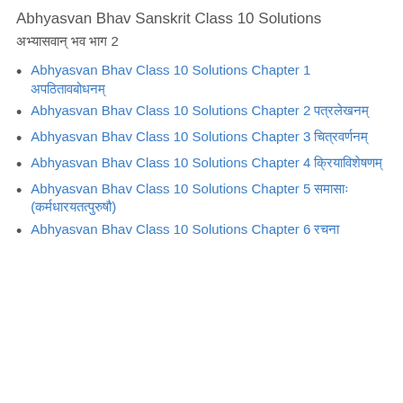Abhyasvan Bhav Sanskrit Class 10 Solutions
अभ्यासवान् भव भाग 2
Abhyasvan Bhav Class 10 Solutions Chapter 1 अपठितावबोधनम्
Abhyasvan Bhav Class 10 Solutions Chapter 2 पत्रलेखनम्
Abhyasvan Bhav Class 10 Solutions Chapter 3 चित्रवर्णनम्
Abhyasvan Bhav Class 10 Solutions Chapter 4 क्रियाविशेषणम्
Abhyasvan Bhav Class 10 Solutions Chapter 5 समासाः (कर्मधारयतत्पुरुषौ)
Abhyasvan Bhav Class 10 Solutions Chapter 6 रचना